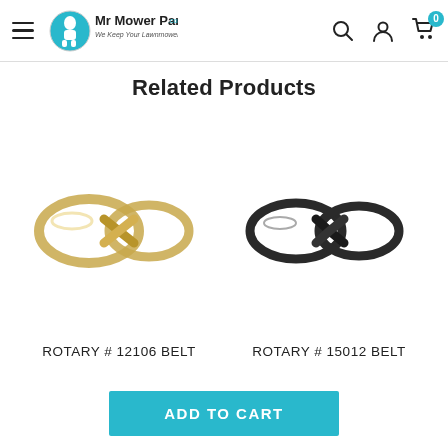Mr Mower Parts - We Keep Your Lawnmower Happy!
Related Products
[Figure (photo): Gold/tan colored mower belt (ROTARY # 12106) shaped in a figure-eight loop]
ROTARY # 12106 BELT
[Figure (photo): Black rubber mower belt (ROTARY # 15012) shaped in a figure-eight loop]
ROTARY # 15012 BELT
ADD TO CART